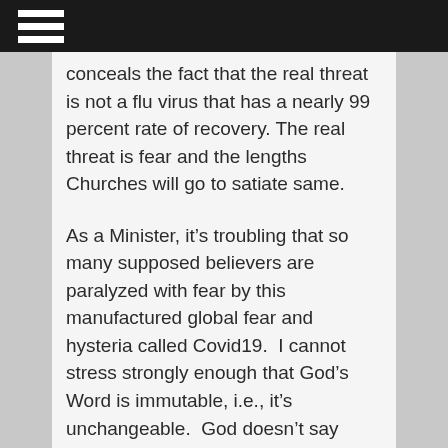conceals the fact that the real threat is not a flu virus that has a nearly 99 percent rate of recovery. The real threat is fear and the lengths Churches will go to satiate same.
As a Minister, it’s troubling that so many supposed believers are paralyzed with fear by this manufactured global fear and hysteria called Covid19.  I cannot stress strongly enough that God’s Word is immutable, i.e., it’s unchangeable.  God doesn’t say